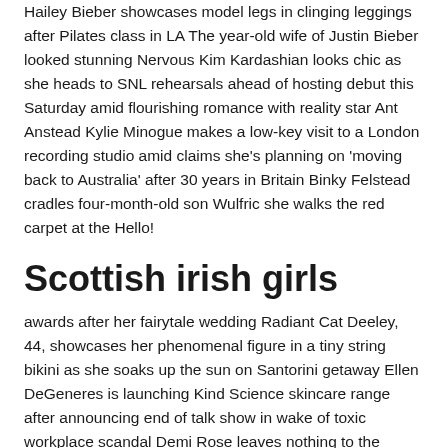Hailey Bieber showcases model legs in clinging leggings after Pilates class in LA The year-old wife of Justin Bieber looked stunning Nervous Kim Kardashian looks chic as she heads to SNL rehearsals ahead of hosting debut this Saturday amid flourishing romance with reality star Ant Anstead Kylie Minogue makes a low-key visit to a London recording studio amid claims she's planning on 'moving back to Australia' after 30 years in Britain Binky Felstead cradles four-month-old son Wulfric she walks the red carpet at the Hello!
Scottish irish girls
awards after her fairytale wedding Radiant Cat Deeley, 44, showcases her phenomenal figure in a tiny string bikini as she soaks up the sun on Santorini getaway Ellen DeGeneres is launching Kind Science skincare range after announcing end of talk show in wake of toxic workplace scandal Demi Rose leaves nothing to the imagination as she poses in heart-shaped pasties